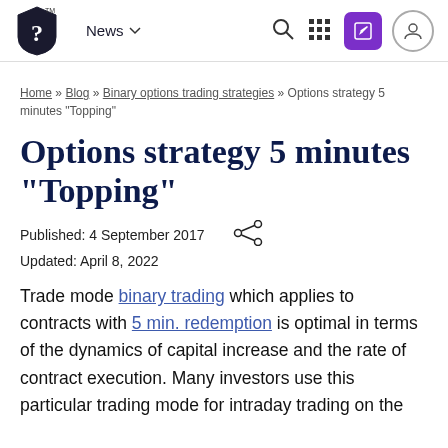News — [navigation bar with logo, search, grid, edit, profile icons]
Home » Blog » Binary options trading strategies » Options strategy 5 minutes "Topping"
Options strategy 5 minutes "Topping"
Published: 4 September 2017
Updated: April 8, 2022
Trade mode binary trading which applies to contracts with 5 min. redemption is optimal in terms of the dynamics of capital increase and the rate of contract execution. Many investors use this particular trading mode for intraday trading on the